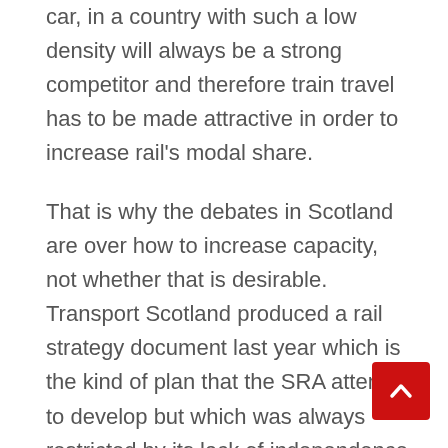car, in a country with such a low density will always be a strong competitor and therefore train travel has to be made attractive in order to increase rail's modal share.
That is why the debates in Scotland are over how to increase capacity, not whether that is desirable. Transport Scotland produced a rail strategy document last year which is the kind of plan that the SRA attempt to develop but which was always restricted by its lack of independence from the Treasury. Scotland's Railways like all such documents suffers from a certain wooliness and lack of definite commitment, but nevertheless at least represents an attempt to develop a coherent plan.